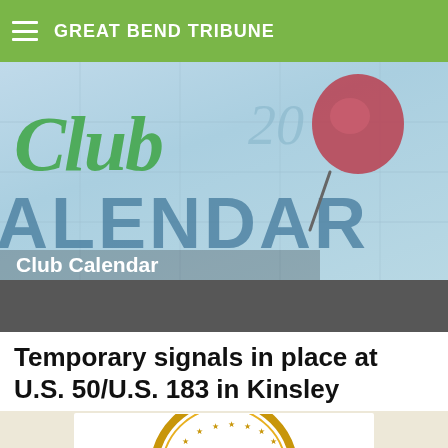GREAT BEND TRIBUNE
[Figure (illustration): Club Calendar decorative banner image showing a calendar with a red push pin, script text reading 'Club' in green, large 'CALENDAR' text in blue-gray, and overlay label 'Club Calendar' in white.]
[Figure (other): Dark gray banner bar]
Temporary signals in place at U.S. 50/U.S. 183 in Kinsley
[Figure (logo): Partial circular seal/logo with text 'AD ASTRA PER ASPER' visible at top and stars around the border, on a light background.]